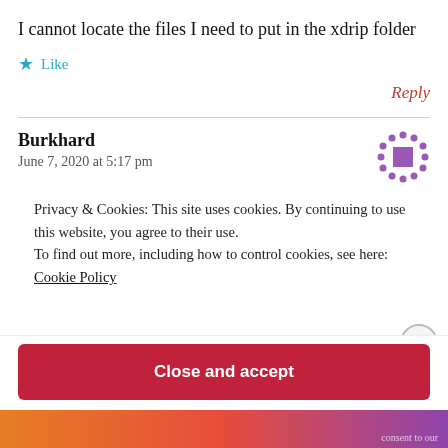I cannot locate the files I need to put in the xdrip folder
★ Like
Reply
Burkhard
June 7, 2020 at 5:17 pm
Privacy & Cookies: This site uses cookies. By continuing to use this website, you agree to their use.
To find out more, including how to control cookies, see here:
Cookie Policy
Close and accept